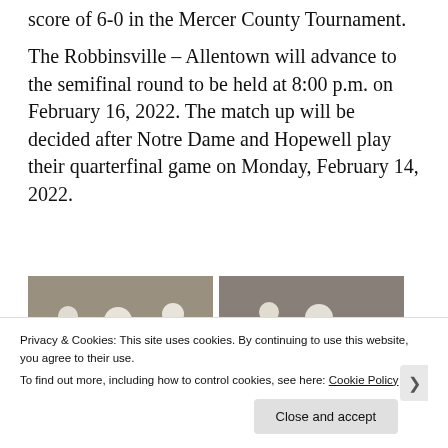score of 6-0 in the Mercer County Tournament.
The Robbinsville – Allentown will advance to the semifinal round to be held at 8:00 p.m. on February 16, 2022. The match up will be decided after Notre Dame and Hopewell play their quarterfinal game on Monday, February 14, 2022.
[Figure (photo): Two side-by-side ice hockey photos showing players on the rink]
Privacy & Cookies: This site uses cookies. By continuing to use this website, you agree to their use.
To find out more, including how to control cookies, see here: Cookie Policy